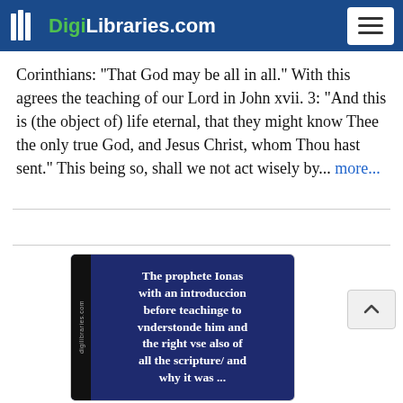DigiLibraries.com
Corinthians: "That God may be all in all." With this agrees the teaching of our Lord in John xvii. 3: "And this is (the object of) life eternal, that they might know Thee the only true God, and Jesus Christ, whom Thou hast sent." This being so, shall we not act wisely by... more...
[Figure (photo): Book cover image showing 'The prophete Ionas with an introduccion before teachinge to vnderstonde him and the right vse also of all the scripture/ and why it was ...' on a dark blue background with a book spine on the left side showing 'digilibraries.com']